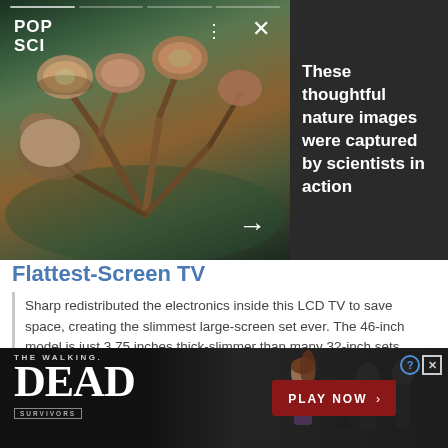[Figure (photo): PopSci advertisement banner showing nature/fungi macro photography with navigation dots, close button, and arrow. Dark background with text overlay.]
These thoughtful nature images were captured by scientists in action
Flattest-Screen TV
Sharp redistributed the electronics inside this LCD TV to save space, creating the slimmest large-screen set ever. The 46-inch model is just 3.75 inches thick-slimmer than many 32-inch sets. Sharp Aquos D64U 46-inch $2,700; sharpusa.com
[Figure (photo): The Walking Dead: Survivors mobile game advertisement banner with zombie imagery and PLAY NOW button.]